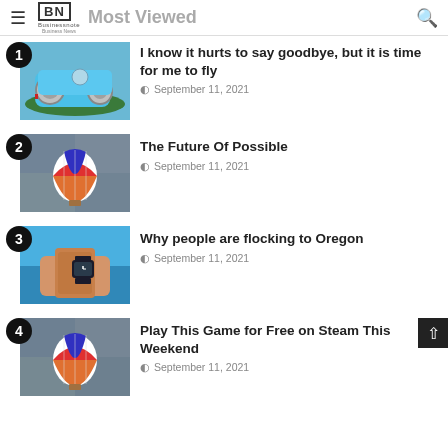Most Viewed — BN Businessnote
1. I know it hurts to say goodbye, but it is time for me to fly — September 11, 2021
2. The Future Of Possible — September 11, 2021
3. Why people are flocking to Oregon — September 11, 2021
4. Play This Game for Free on Steam This Weekend — September 11, 2021